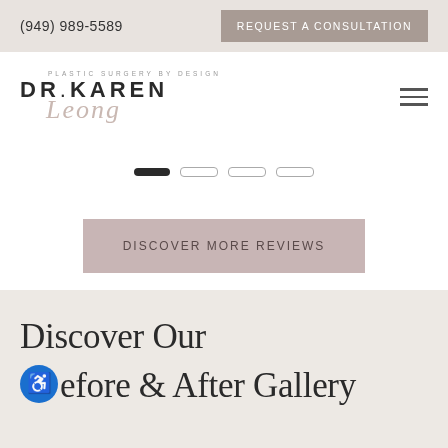(949) 989-5589
REQUEST A CONSULTATION
[Figure (logo): Dr. Karen Leong plastic surgery practice logo with text 'Plastic Surgery by Design', 'DR. KAREN' and stylized script 'Leong']
[Figure (other): Carousel slide navigation indicators: one filled black pill and three outlined pill shapes]
DISCOVER MORE REVIEWS
Discover Our Before & After Gallery